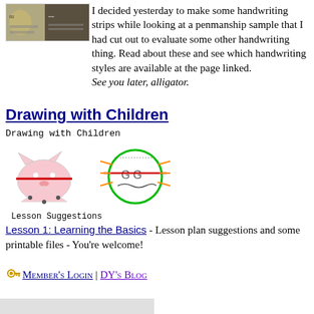[Figure (photo): Small thumbnail image of a handwriting/penmanship sample document]
I decided yesterday to make some handwriting strips while looking at a penmanship sample that I had cut out to evaluate some other handwriting thing. Read about these and see which handwriting styles are available at the page linked. See you later, alligator.
Drawing with Children
[Figure (illustration): Drawing with Children book cover image with cartoon cat and owl illustrations, monospace label 'Drawing with Children' above and 'Lesson Suggestions' below]
Lesson 1: Learning the Basics - Lesson plan suggestions and some printable files - You're welcome!
Member's Login | DY's Blog